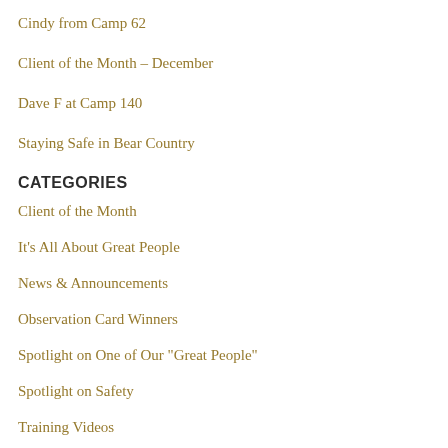Cindy from Camp 62
Client of the Month – December
Dave F at Camp 140
Staying Safe in Bear Country
CATEGORIES
Client of the Month
It's All About Great People
News & Announcements
Observation Card Winners
Spotlight on One of Our "Great People"
Spotlight on Safety
Training Videos
Western Dispatch